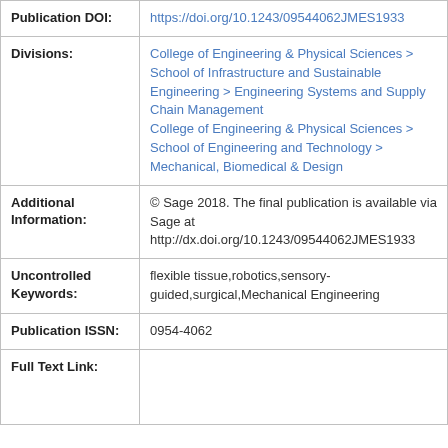| Field | Value |
| --- | --- |
| Publication DOI: | https://doi.org/10.1243/09544062JMES1933 |
| Divisions: | College of Engineering & Physical Sciences > School of Infrastructure and Sustainable Engineering > Engineering Systems and Supply Chain Management
College of Engineering & Physical Sciences > School of Engineering and Technology > Mechanical, Biomedical & Design |
| Additional Information: | © Sage 2018. The final publication is available via Sage at http://dx.doi.org/10.1243/09544062JMES1933 |
| Uncontrolled Keywords: | flexible tissue,robotics,sensory-guided,surgical,Mechanical Engineering |
| Publication ISSN: | 0954-4062 |
| Full Text Link: |  |